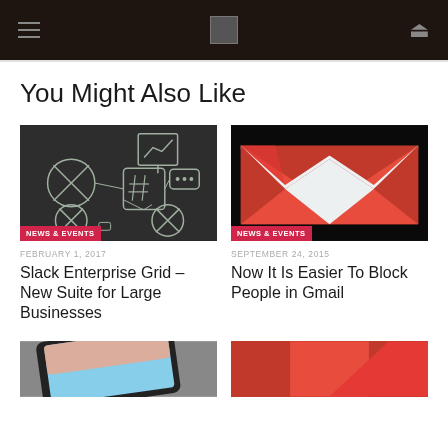Navigation header with hamburger menu, logo, and search icon
You Might Also Like
[Figure (screenshot): Dark background illustration of social media / tech network icons (circles, hashtag, speech bubble, chart) connected by lines. Badge: NEWS & EVENTS]
[Figure (photo): Close-up of Gmail logo (red M with envelope) on dark background. Badge: NEWS & EVENTS]
FEBRUARY 1, 2017
Slack Enterprise Grid – New Suite for Large Businesses
SEPTEMBER 24, 2015
Now It Is Easier To Block People in Gmail
[Figure (photo): Partial bottom image showing a tablet device on the left]
[Figure (photo): Partial bottom image on the right, red/orange tones]